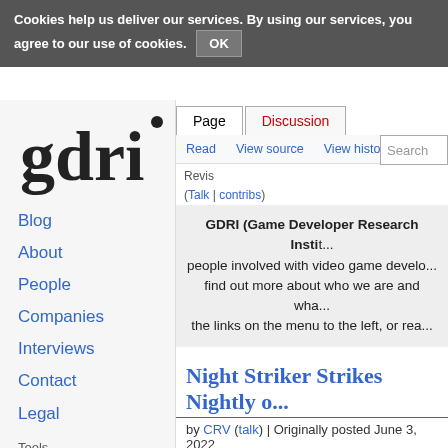Cookies help us deliver our services. By using our services, you agree to our use of cookies. OK
[Figure (logo): GDRI logo in bold serif font]
Page | Discussion
Read | View source | View history | Search
Revision as of ... (Talk | contribs) (diff) ← Older revision | Latest revision (diff) | Newer revision → (diff)
Blog
About
People
Companies
Interviews
Contact
Legal
Tools
What links here
Related changes
GDRI (Game Developer Research Insti... people involved with video game develo... find out more about who we are and wha... the links on the menu to the left, or rea...
Night Striker Strikes Nightly o...
by CRV (talk) | Originally posted June 3, 2022